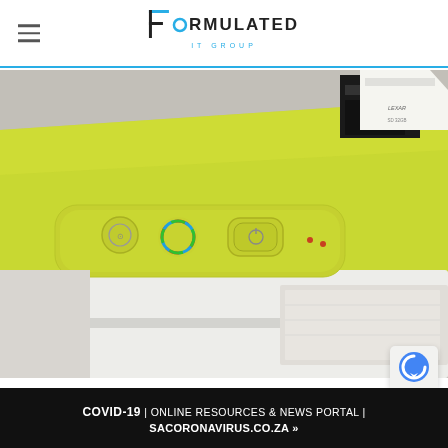Formulated IT Group — navigation header with logo
[Figure (photo): Close-up photo of a yellow-green HP printer top panel with control buttons, with SD memory cards on the white printer body in the upper right corner]
COVID-19 | ONLINE RESOURCES & NEWS PORTAL | SACORONAVIRUS.CO.ZA »